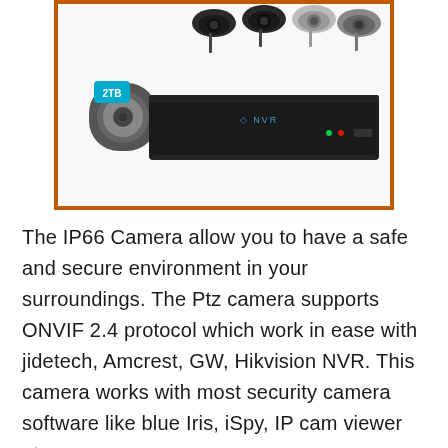[Figure (photo): Security camera system product photo showing multiple dome cameras at top and a black NVR recorder device with a 2TB hard drive in front, all framed with an orange/brown border]
The IP66 Camera allow you to have a safe and secure environment in your surroundings. The Ptz camera supports ONVIF 2.4 protocol which work in ease with jidetech, Amcrest, GW, Hikvision NVR. This camera works with most security camera software like blue Iris, iSpy, IP cam viewer etc.